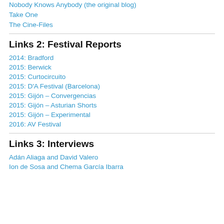Nobody Knows Anybody (the original blog)
Take One
The Cine-Files
Links 2: Festival Reports
2014: Bradford
2015: Berwick
2015: Curtocircuito
2015: D'A Festival (Barcelona)
2015: Gijón – Convergencias
2015: Gijón – Asturian Shorts
2015: Gijón – Experimental
2016: AV Festival
Links 3: Interviews
Adán Aliaga and David Valero
Ion de Sosa and Chema García Ibarra